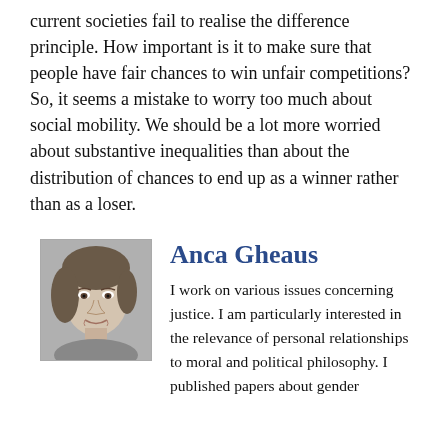current societies fail to realise the difference principle. How important is it to make sure that people have fair chances to win unfair competitions?
So, it seems a mistake to worry too much about social mobility. We should be a lot more worried about substantive inequalities than about the distribution of chances to end up as a winner rather than as a loser.
[Figure (photo): Black and white portrait photo of Anca Gheaus, a woman with light hair, facing slightly to the side.]
Anca Gheaus
I work on various issues concerning justice. I am particularly interested in the relevance of personal relationships to moral and political philosophy. I published papers about gender